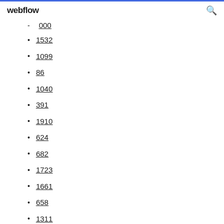webflow
000
1532
1099
86
1040
391
1910
624
682
1723
1661
658
1311